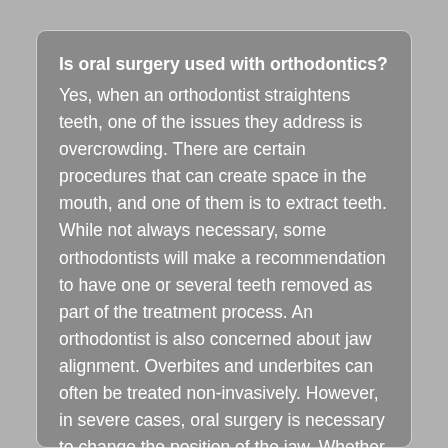Is oral surgery used with orthodontics?
Yes, when an orthodontist straightens teeth, one of the issues they address is overcrowding. There are certain procedures that can create space in the mouth, and one of them is to extract teeth. While not always necessary, some orthodontists will make a recommendation to have one or several teeth removed as part of the treatment process. An orthodontist is also concerned about jaw alignment. Overbites and underbites can often be treated non-invasively. However, in severe cases, oral surgery is necessary to change the position of the jaw. Whether or not you will need oral surgery is something to discuss during...